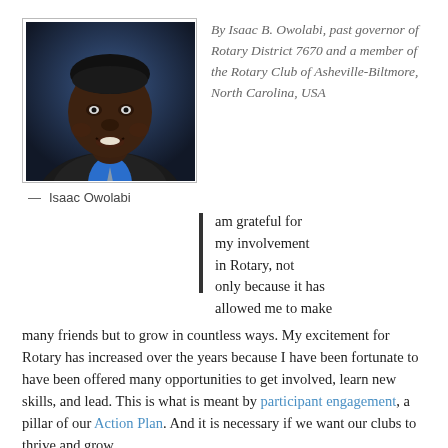[Figure (photo): Headshot of Isaac Owolabi, a smiling man in a blue shirt and tie with dark jacket, against a dark blue background]
— Isaac Owolabi
By Isaac B. Owolabi, past governor of Rotary District 7670 and a member of the Rotary Club of Asheville-Biltmore, North Carolina, USA
I am grateful for my involvement in Rotary, not only because it has allowed me to make many friends but to grow in countless ways. My excitement for Rotary has increased over the years because I have been fortunate to have been offered many opportunities to get involved, learn new skills, and lead. This is what is meant by participant engagement, a pillar of our Action Plan. And it is necessary if we want our clubs to thrive and grow.